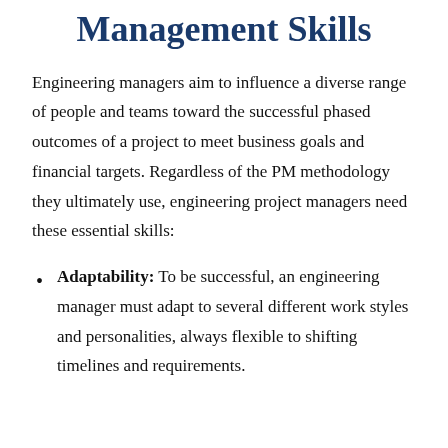Management Skills
Engineering managers aim to influence a diverse range of people and teams toward the successful phased outcomes of a project to meet business goals and financial targets. Regardless of the PM methodology they ultimately use, engineering project managers need these essential skills:
Adaptability: To be successful, an engineering manager must adapt to several different work styles and personalities, always flexible to shifting timelines and requirements.